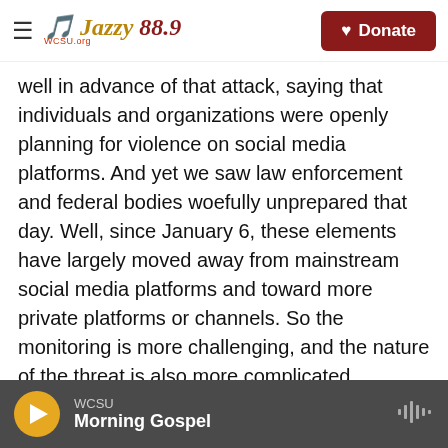Jazzy 88.9 | WCSU — Navigation bar with Donate button
well in advance of that attack, saying that individuals and organizations were openly planning for violence on social media platforms. And yet we saw law enforcement and federal bodies woefully unprepared that day. Well, since January 6, these elements have largely moved away from mainstream social media platforms and toward more private platforms or channels. So the monitoring is more challenging, and the nature of the threat is also more complicated.

You know, as more Americans consider violence as a means to achieve political goals, we really could
WCSU — Morning Gospel (player bar)